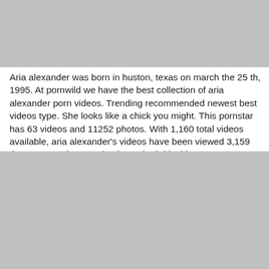[Figure (photo): Gray placeholder image at top of page]
Aria alexander was born in huston, texas on march the 25 th, 1995. At pornwild we have the best collection of aria alexander porn videos. Trending recommended newest best videos type. She looks like a chick you might. This pornstar has 63 videos and 11252 photos. With 1,160 total videos available, aria alexander's videos have been viewed 3,159 times. Kenna james aria alexander hd lesbian porn.
[Figure (photo): Gray placeholder image at bottom of page]